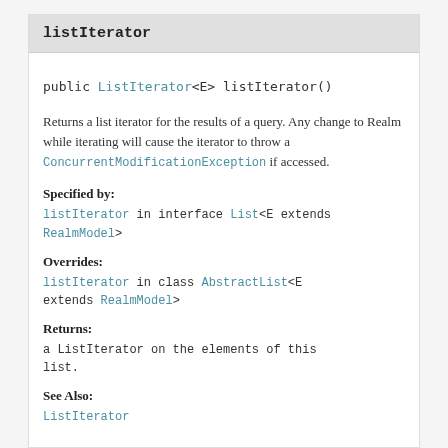listIterator
public ListIterator<E> listIterator()
Returns a list iterator for the results of a query. Any change to Realm while iterating will cause the iterator to throw a ConcurrentModificationException if accessed.
Specified by:
listIterator in interface List<E extends RealmModel>
Overrides:
listIterator in class AbstractList<E extends RealmModel>
Returns:
a ListIterator on the elements of this list.
See Also:
ListIterator